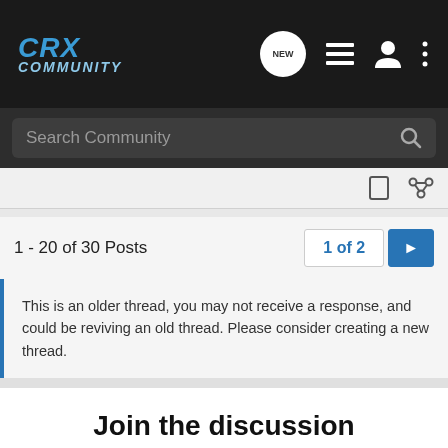CRX Community
Search Community
1 - 20 of 30 Posts  1 of 2
This is an older thread, you may not receive a response, and could be reviving an old thread. Please consider creating a new thread.
Join the discussion
Continue with Facebook
Continue with Google